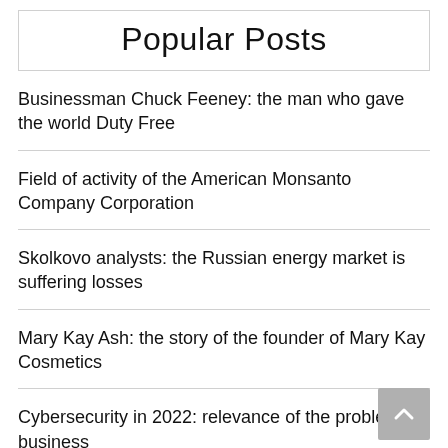Popular Posts
Businessman Chuck Feeney: the man who gave the world Duty Free
Field of activity of the American Monsanto Company Corporation
Skolkovo analysts: the Russian energy market is suffering losses
Mary Kay Ash: the story of the founder of Mary Kay Cosmetics
Cybersecurity in 2022: relevance of the problem for business